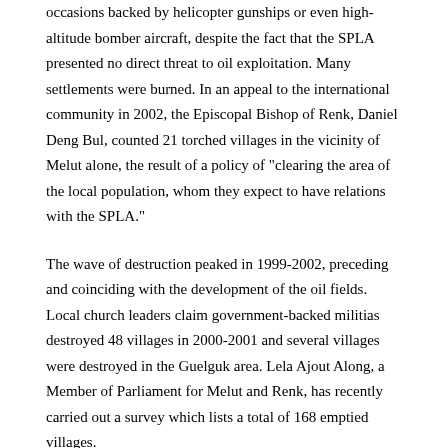occasions backed by helicopter gunships or even high-altitude bomber aircraft, despite the fact that the SPLA presented no direct threat to oil exploitation. Many settlements were burned. In an appeal to the international community in 2002, the Episcopal Bishop of Renk, Daniel Deng Bul, counted 21 torched villages in the vicinity of Melut alone, the result of a policy of "clearing the area of the local population, whom they expect to have relations with the SPLA."
The wave of destruction peaked in 1999-2002, preceding and coinciding with the development of the oil fields. Local church leaders claim government-backed militias destroyed 48 villages in 2000-2001 and several villages were destroyed in the Guelguk area. Lela Ajout Along, a Member of Parliament for Melut and Renk, has recently carried out a survey which lists a total of 168 emptied villages.
"The army declared a rule," says Bishop Daniel Deng Bul. "If a person found after this in the area where the Chinese are working, [it] can cost her life. Most young people have left Melut towards the North, afraid...